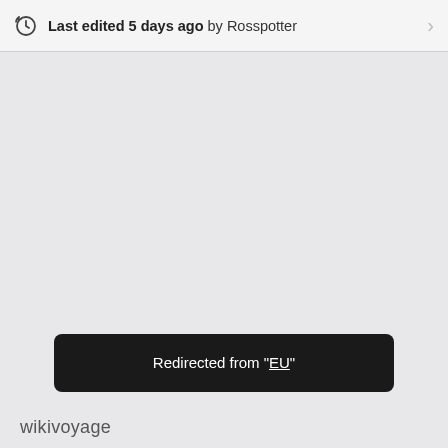Last edited 5 days ago by Rosspotter
Redirected from "EU"
wikivoyage